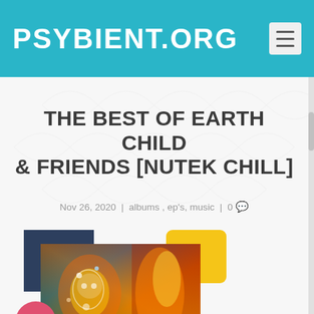PSYBIENT.ORG
THE BEST OF EARTH CHILD & FRIENDS [NUTEK CHILL]
Nov 26, 2020 | albums , ep's, music | 0
[Figure (photo): Album art for The Best of Earth Child & Friends [Nutek Chill] — a colorful psychedelic collage image with navy blue, yellow, and pink geometric shapes in the background]